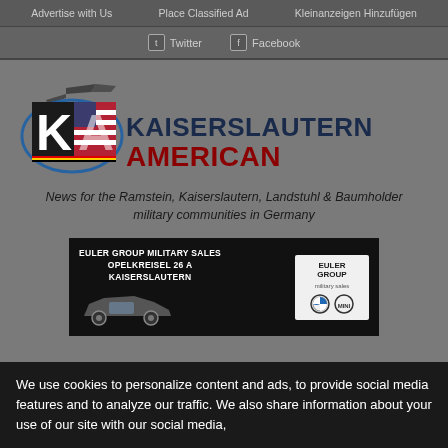Advertise with Us   Place Classified Ad   Kleinanzeigen Hinzufügen
Twitter   Facebook
[Figure (logo): Kaiserslautern American newspaper logo with KA initials featuring US and German flag design and airplane silhouette, with text KAISERSLAUTERN AMERICAN]
News for the Ramstein, Kaiserslautern, Landstuhl & Baumholder military communities in Germany
[Figure (infographic): Euler Group Military Sales advertisement banner: EULER GROUP MILITARY SALES OPELKREISEL 26 A KAISERSLAUTERN, with car image and Euler Group logo with BMW and MINI logos]
We use cookies to personalize content and ads, to provide social media features and to analyze our traffic. We also share information about your use of our site with our social media,